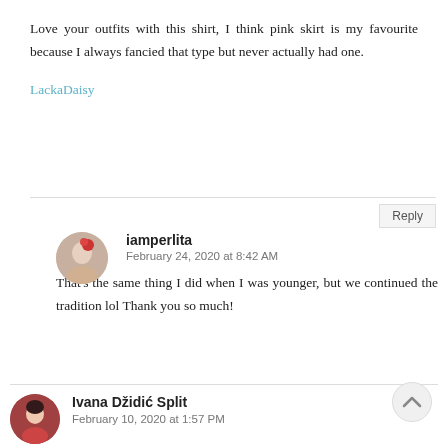Love your outfits with this shirt, I think pink skirt is my favourite because I always fancied that type but never actually had one.
LackaDaisy
Reply
iamperlita
February 24, 2020 at 8:42 AM
That's the same thing I did when I was younger, but we continued the tradition lol Thank you so much!
Ivana Džidić Split
February 10, 2020 at 1:57 PM